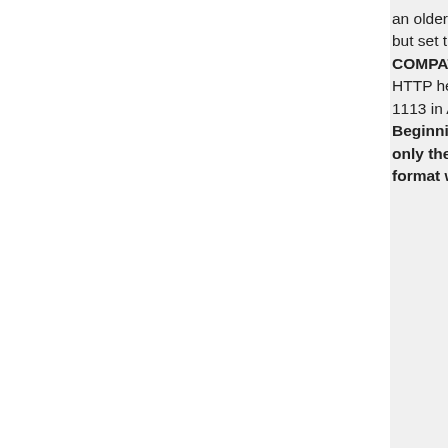an older Trading WSDL but set the X-EBAY-API-COMPATIBILITY-LEVEL HTTP header value to 1113 in API calls. Beginning in June 2020, only the new order ID format will be returned